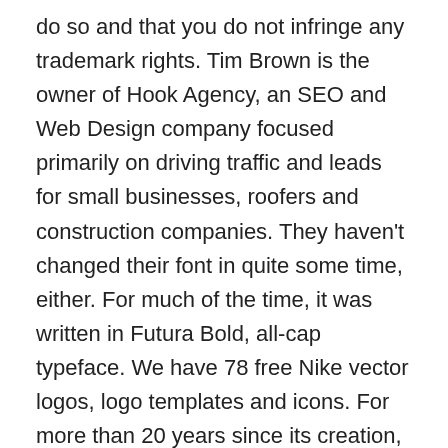do so and that you do not infringe any trademark rights. Tim Brown is the owner of Hook Agency, an SEO and Web Design company focused primarily on driving traffic and leads for small businesses, roofers and construction companies. They haven't changed their font in quite some time, either. For much of the time, it was written in Futura Bold, all-cap typeface. We have 78 free Nike vector logos, logo templates and icons. For more than 20 years since its creation, the Nike logo included the name of the company. 05.02.2013 - Der Illustrator Will C. Smith machte aus seinen Lieblings-Nike-Sneakern einen Font. Fonts in logo design are not always easy to get right. While the Nike logo is a symbol, the designers often place the Just Do It slogan at the logo's top. If you do not have this font, you can purchase it from the link below. Download @font-face. Font yang digunakan oleh Adidas adalah ⇒ Avant Garde